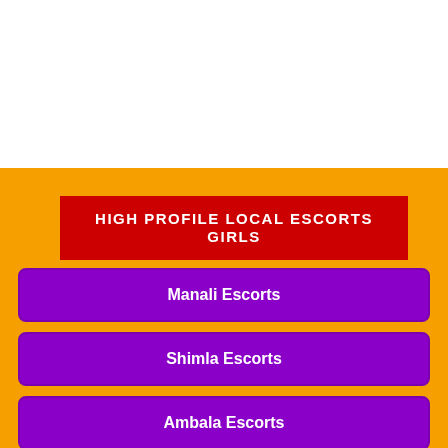HIGH PROFILE LOCAL ESCORTS GIRLS
Manali Escorts
Shimla Escorts
Ambala Escorts
Karnal Escorts
Panipat Escorts